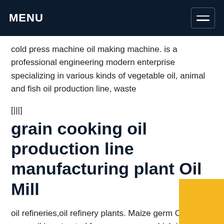MENU
cold press machine oil making machine. is a professional engineering modern enterprise specializing in various kinds of vegetable oil, animal and fish oil production line, waste
[|||]
grain cooking oil production line manufacturing plant Oil Mill
oil refineries,oil refinery plants. Maize germ Corn germ oil is extracted from corn germ, which is one of the most commonly used cooking oil Nowadays a complete corn germ oil production line consists prepressing workshop